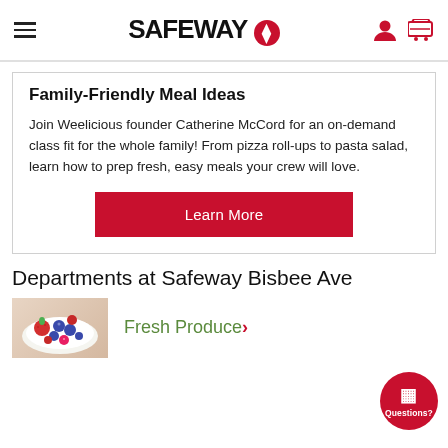SAFEWAY
Family-Friendly Meal Ideas
Join Weelicious founder Catherine McCord for an on-demand class fit for the whole family! From pizza roll-ups to pasta salad, learn how to prep fresh, easy meals your crew will love.
Learn More
Departments at Safeway Bisbee Ave
[Figure (photo): Bowl of fresh mixed berries (strawberries, blueberries, raspberries)]
Fresh Produce >